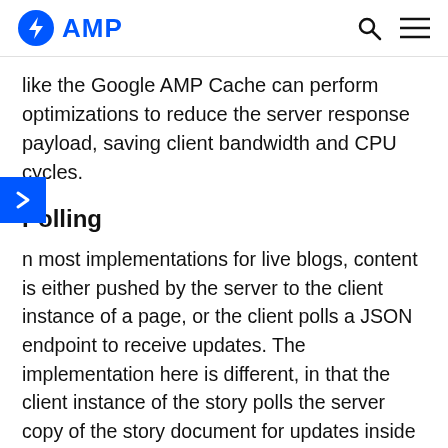AMP
like the Google AMP Cache can perform optimizations to reduce the server response payload, saving client bandwidth and CPU cycles.
Polling
In most implementations for live blogs, content is either pushed by the server to the client instance of a page, or the client polls a JSON endpoint to receive updates. The implementation here is different, in that the client instance of the story polls the server copy of the story document for updates inside the <amp-story> element. For instance: if the user is viewing a story served from an AMP cache, the client will poll that document hosted on that AMP cache for updates; if the user